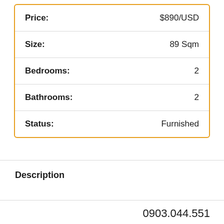| Field | Value |
| --- | --- |
| Price: | $890/USD |
| Size: | 89 Sqm |
| Bedrooms: | 2 |
| Bathrooms: | 2 |
| Status: | Furnished |
Description
0903.044.551